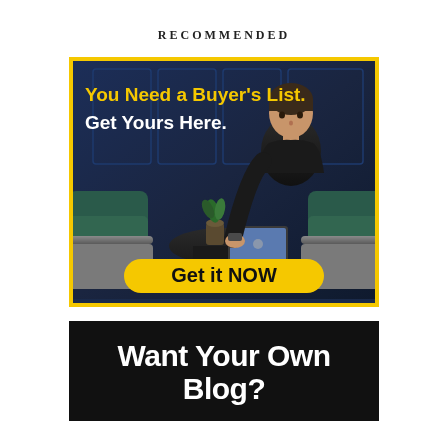RECOMMENDED
[Figure (illustration): Advertisement banner with dark blue background showing a man working on a laptop at a table with a small plant. Yellow border. Text reads 'You Need a Buyer's List. Get Yours Here.' with a yellow 'Get it NOW' call-to-action button.]
[Figure (illustration): Black banner with bold white text reading 'Want Your Own Blog?']